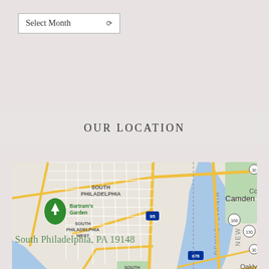Select Month
OUR LOCATION
[Figure (map): Google Maps showing South Philadelphia area including Bartram's Garden, South Philadelphia, South Philadelphia West, South Philadelphia East, FDR Park, Camden, New Jersey, Gloucester City, Pennsylvania, with highways I-95, I-76, I-676, 130, 168, 291 marked, and the Delaware River and Schuylkill River visible.]
South Philadelphia, PA 19148